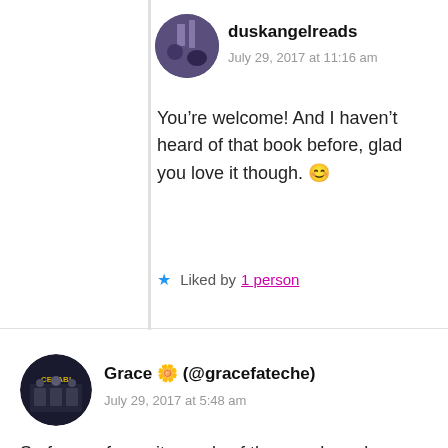duskangelreads
July 29, 2017 at 11:16 am
You’re welcome! And I haven’t heard of that book before, glad you love it though. 😊
★ Liked by 1 person
Grace 🌼 (@gracefateche)
July 29, 2017 at 5:48 am
So far, my favourite reads of the year have been Caraval (Stephanie Garber) and The Hate U Give (Angie Thomas) 😐 I liked them